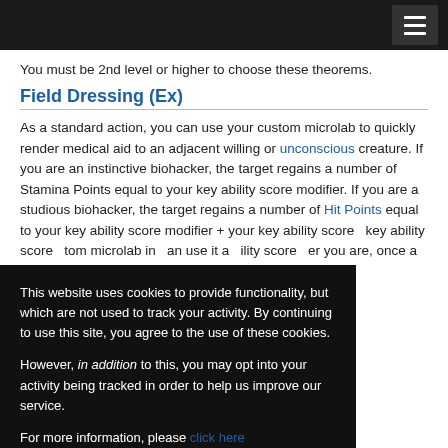[Navigation header with hamburger menu]
You must be 2nd level or higher to choose these theorems.
Field Dressing (Ex)
As a standard action, you can use your custom microlab to quickly render medical aid to an adjacent willing or unconscious creature. If you are an instinctive biohacker, the target regains a number of Stamina Points equal to your key ability score modifier. If you are a studious biohacker, the target regains a number of Hit Points equal to your key ability score modifier + your key ability ... key ability score ... tom microlab in ... an use it a ... ility score ... er you are, once a ... g, they cannot ... ey take a 10-
This website uses cookies to provide functionality, but which are not used to track your activity. By continuing to use this site, you agree to the use of these cookies.

However, in addition to this, you may opt into your activity being tracked in order to help us improve our service.

For more information, please click here